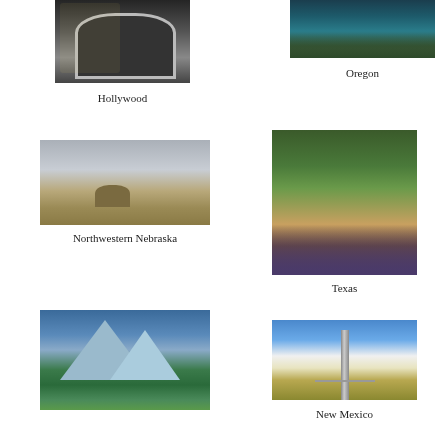[Figure (photo): Ornate arch gate at night, Hollywood]
Hollywood
[Figure (photo): Blue green river or lake with rocky shores, Oregon]
Oregon
[Figure (photo): Wide open plains under cloudy sky, Northwestern Nebraska]
Northwestern Nebraska
[Figure (photo): Stone stairway with trees and plants, Texas]
Texas
[Figure (photo): Mountain landscape with green meadows and wildflowers]
[Figure (photo): Open road through flat plains under big sky with clouds, New Mexico]
New Mexico